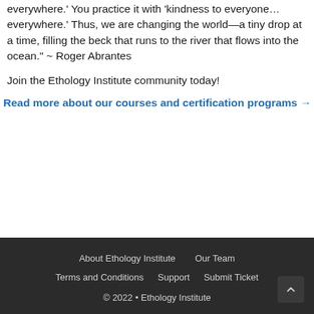everywhere.' You practice it with 'kindness to everyone… everywhere.' Thus, we are changing the world—a tiny drop at a time, filling the beck that runs to the river that flows into the ocean." ~ Roger Abrantes
Join the Ethology Institute community today!
Read more about our courses and certification programs →
About Ethology Institute  Our Team  Terms and Conditions  Support  Submit Ticket  © 2022 • Ethology Institute